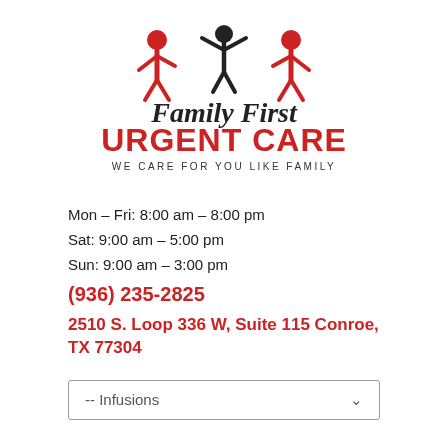[Figure (logo): Family First Urgent Care logo with three stick figures (two red adults and one black child in center), script text 'Family First' in black, bold red text 'URGENT CARE', and subtitle 'WE CARE FOR YOU LIKE FAMILY' in dark spaced letters]
Mon – Fri: 8:00 am – 8:00 pm
Sat: 9:00 am – 5:00 pm
Sun: 9:00 am – 3:00 pm
(936) 235-2825
2510 S. Loop 336 W, Suite 115 Conroe, TX 77304
-- Infusions